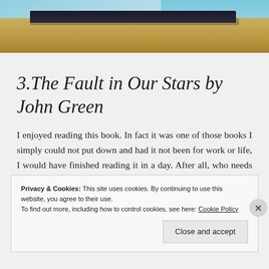[Figure (photo): Photograph of a book with blue cover on a wooden surface, showing the spine and top pages]
3.The Fault in Our Stars by John Green
I enjoyed reading this book. In fact it was one of those books I simply could not put down and had it not been for work or life, I would have finished reading it in a day. After all, who needs sleep any way?
Privacy & Cookies: This site uses cookies. By continuing to use this website, you agree to their use.
To find out more, including how to control cookies, see here: Cookie Policy
Close and accept